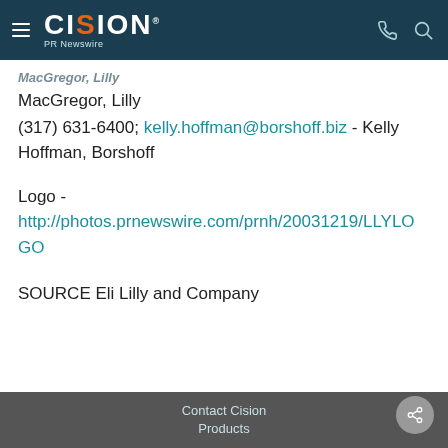CISION PR Newswire
MacGregor, Lilly
(317) 631-6400; kelly.hoffman@borshoff.biz - Kelly Hoffman, Borshoff
Logo - http://photos.prnewswire.com/prnh/20031219/LLYLOGO
SOURCE Eli Lilly and Company
Contact Cision Products